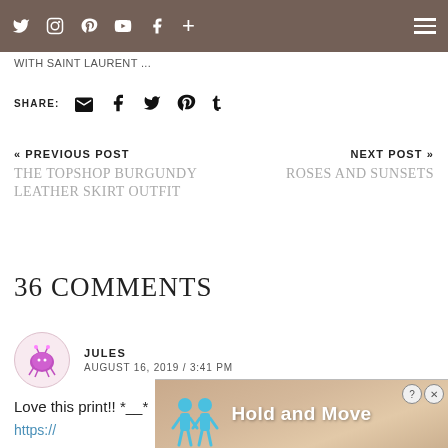Social media icons navigation bar with menu
WITH SAINT LAURENT ...
SHARE: [email] [facebook] [twitter] [pinterest] [tumblr]
« PREVIOUS POST
THE TOPSHOP BURGUNDY LEATHER SKIRT OUTFIT
NEXT POST »
ROSES AND SUNSETS
36 COMMENTS
JULES
AUGUST 16, 2019 / 3:41 PM
Love this print!! *__*
https://
[Figure (screenshot): Advertisement banner showing 'Hold and Move' with animated figures, with Close X button and help/close icons]